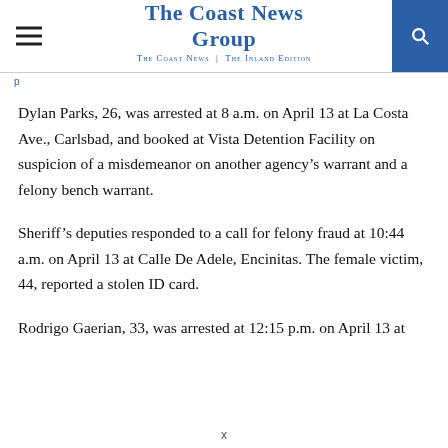The Coast News Group | The Coast News | The Inland Edition
Dylan Parks, 26, was arrested at 8 a.m. on April 13 at La Costa Ave., Carlsbad, and booked at Vista Detention Facility on suspicion of a misdemeanor on another agency's warrant and a felony bench warrant.
Sheriff's deputies responded to a call for felony fraud at 10:44 a.m. on April 13 at Calle De Adele, Encinitas. The female victim, 44, reported a stolen ID card.
Rodrigo Gaerian, 33, was arrested at 12:15 p.m. on April 13 at
x